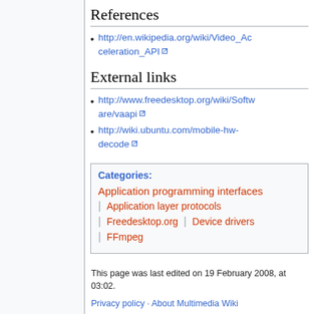References
http://en.wikipedia.org/wiki/Video_Acceleration_API
External links
http://www.freedesktop.org/wiki/Software/vaapi
http://wiki.ubuntu.com/mobile-hw-decode
Categories: Application programming interfaces | Application layer protocols | Freedesktop.org | Device drivers | FFmpeg
This page was last edited on 19 February 2008, at 03:02.